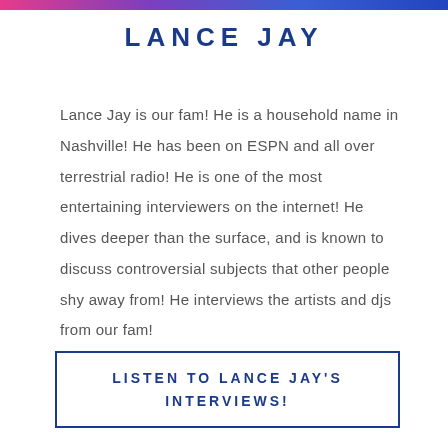LANCE JAY
Lance Jay is our fam! He is a household name in Nashville! He has been on ESPN and all over terrestrial radio! He is one of the most entertaining interviewers on the internet! He dives deeper than the surface, and is known to discuss controversial subjects that other people shy away from! He interviews the artists and djs from our fam!
LISTEN TO LANCE JAY'S INTERVIEWS!